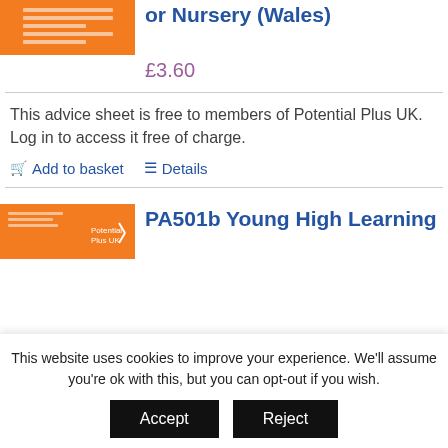or Nursery (Wales)
£3.60
This advice sheet is free to members of Potential Plus UK. Log in to access it free of charge.
Add to basket   Details
PA501b Young High Learning
This website uses cookies to improve your experience. We'll assume you're ok with this, but you can opt-out if you wish.
Accept   Reject